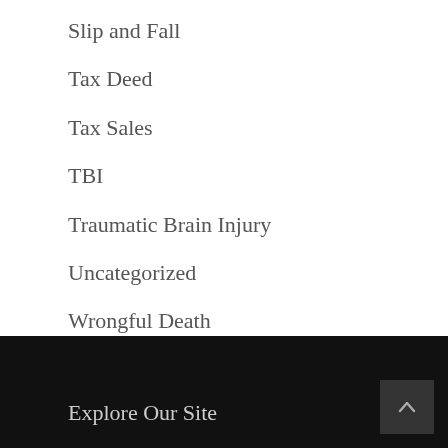Slip and Fall
Tax Deed
Tax Sales
TBI
Traumatic Brain Injury
Uncategorized
Wrongful Death
Explore Our Site